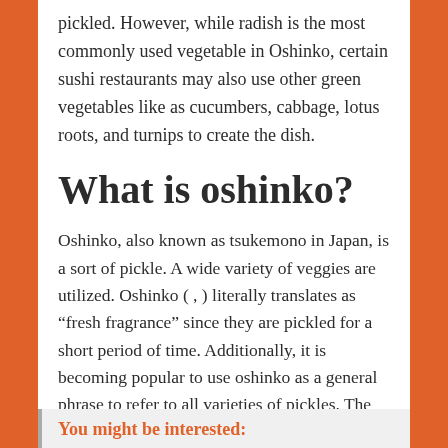pickled. However, while radish is the most commonly used vegetable in Oshinko, certain sushi restaurants may also use other green vegetables like as cucumbers, cabbage, lotus roots, and turnips to create the dish.
What is oshinko?
Oshinko, also known as tsukemono in Japan, is a sort of pickle. A wide variety of veggies are utilized. Oshinko ( , ) literally translates as “fresh fragrance” since they are pickled for a short period of time. Additionally, it is becoming popular to use oshinko as a general phrase to refer to all varieties of pickles. The most prevalent variety of oshinko is made with pickled daikon radish.
You might be interested: